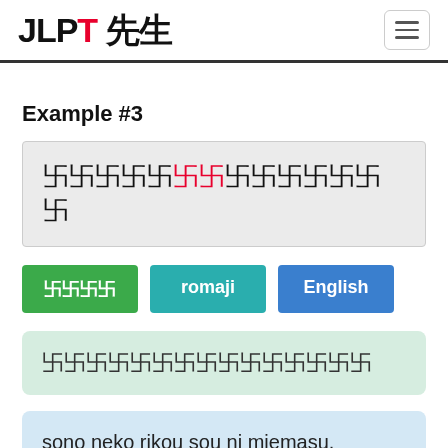JLPT 先生
Example #3
Japanese sentence with highlighted characters (sono neko rikou sou ni miemasu)
ふりがな
romaji
English
Japanese furigana reading
sono neko rikou sou ni miemasu.